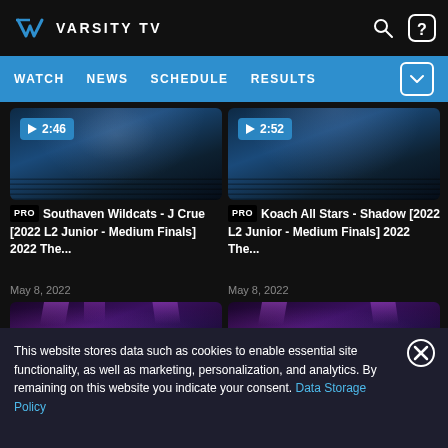VARSITY TV
WATCH  NEWS  SCHEDULE  RESULTS
[Figure (screenshot): Video thumbnail showing cheerleading performance, duration 2:46]
PRO Southaven Wildcats - J Crue [2022 L2 Junior - Medium Finals] 2022 The...
May 8, 2022
[Figure (screenshot): Video thumbnail showing cheerleading performance, duration 2:52]
PRO Koach All Stars - Shadow [2022 L2 Junior - Medium Finals] 2022 The...
May 8, 2022
[Figure (screenshot): Video thumbnail showing cheerleading performance (second row, left)]
[Figure (screenshot): Video thumbnail showing cheerleading performance (second row, right)]
This website stores data such as cookies to enable essential site functionality, as well as marketing, personalization, and analytics. By remaining on this website you indicate your consent. Data Storage Policy